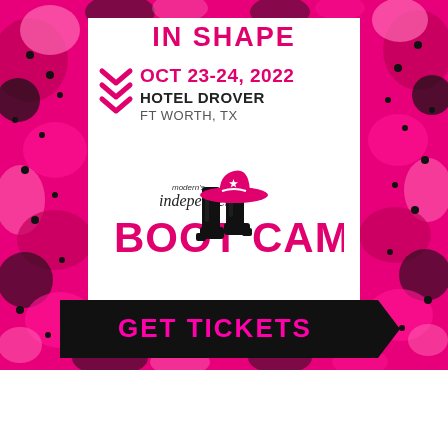[Figure (infographic): Event promotional flyer for Modern's Independent Boot Camp. Pink and black decorative camouflage-style border surrounds a white center panel. Shows date OCT 23-24, 2022, location Hotel Drover, Ft Worth TX, with cowboy boot and hat logo. Bottom has a black arrow banner with GET TICKETS in pink.]
IN SHAPE
OCT 23-24, 2022
HOTEL DROVER
FT WORTH, TX
GET TICKETS